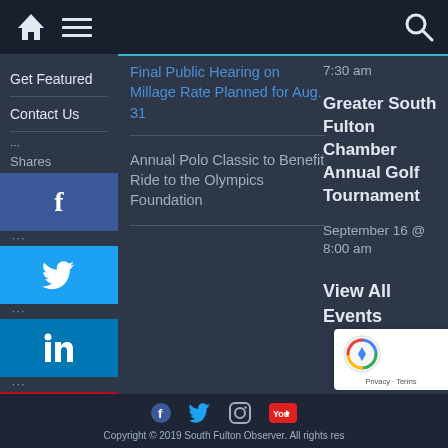Navigation bar with home, menu, and search icons
Get Featured
Contact Us
... Shares
Final Public Hearing on Millage Rate Planned for Aug. 31
Annual Polo Classic to Benefit Ride to the Olympics Foundation
7:30 am
Greater South Fulton Chamber Annual Golf Tournament
September 16 @ 8:00 am
View All Events
Copyright © 2019 South Fulton Observer. All rights reserved.